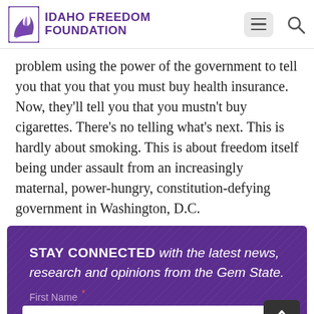Idaho Freedom Foundation
problem using the power of the government to tell you that you that you must buy health insurance. Now, they'll tell you that you mustn't buy cigarettes. There's no telling what's next. This is hardly about smoking. This is about freedom itself being under assault from an increasingly maternal, power-hungry, constitution-defying government in Washington, D.C.
[Figure (infographic): Purple banner with 'STAY CONNECTED with the latest news, research and opinions from the Gem State.' text, a First Name input field, and a back-to-top button.]